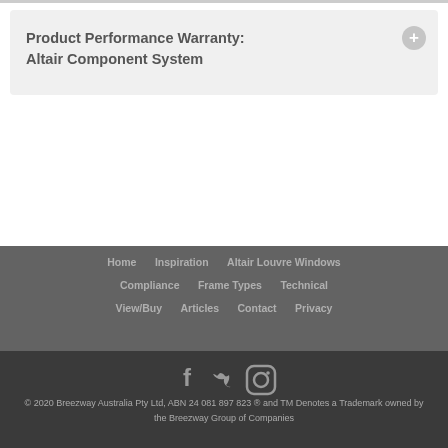Product Performance Warranty: Altair Component System
Home  Inspiration  Altair Louvre Windows  Compliance  Frame Types  Technical  View/Buy  Articles  Contact  Privacy
© 2020 Breezway Australia Pty Ltd, ABN 24 081 897 823 ® and TM Denotes a Trademark owned by the Breezway Group of Companies